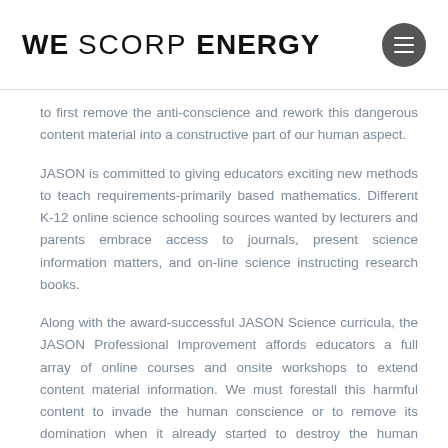WE SCORP ENERGY
to first remove the anti-conscience and rework this dangerous content material into a constructive part of our human aspect.
JASON is committed to giving educators exciting new methods to teach requirements-primarily based mathematics. Different K-12 online science schooling sources wanted by lecturers and parents embrace access to journals, present science information matters, and on-line science instructing research books.
Along with the award-successful JASON Science curricula, the JASON Professional Improvement affords educators a full array of online courses and onsite workshops to extend content material information. We must forestall this harmful content to invade the human conscience or to remove its domination when it already started to destroy the human conscience after